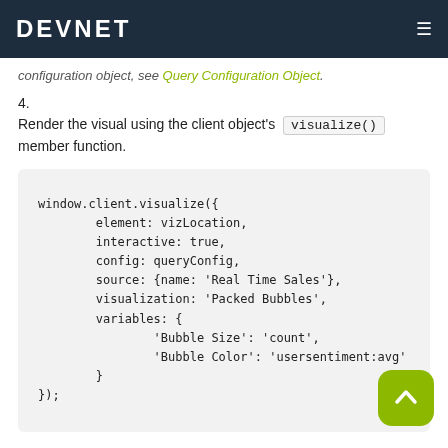DEVNET
configuration object, see Query Configuration Object.
4. Render the visual using the client object's visualize() member function.
window.client.visualize({
    element: vizLocation,
    interactive: true,
    config: queryConfig,
    source: {name: 'Real Time Sales'},
    visualization: 'Packed Bubbles',
    variables: {
        'Bubble Size': 'count',
        'Bubble Color': 'usersentiment:avg'
    }
});